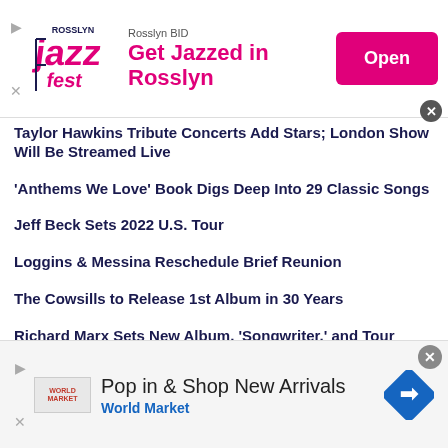[Figure (other): Rosslyn Jazz Fest advertisement banner with logo, 'Rosslyn BID', 'Get Jazzed in Rosslyn' text in pink, and pink 'Open' button]
Taylor Hawkins Tribute Concerts Add Stars; London Show Will Be Streamed Live
‘Anthems We Love’ Book Digs Deep Into 29 Classic Songs
Jeff Beck Sets 2022 U.S. Tour
Loggins & Messina Reschedule Brief Reunion
The Cowsills to Release 1st Album in 30 Years
Richard Marx Sets New Album, ‘Songwriter,’ and Tour
‘Elvis on Tour’ Box Set Due, On Heels of Biopic Success
Bill Pitman, Wrecking Crew Guitarist, Dies at 102
Eagles Announce New 2022 Dates
[Figure (other): World Market advertisement banner: 'Pop in & Shop New Arrivals' with World Market logo and blue navigation arrow icon]